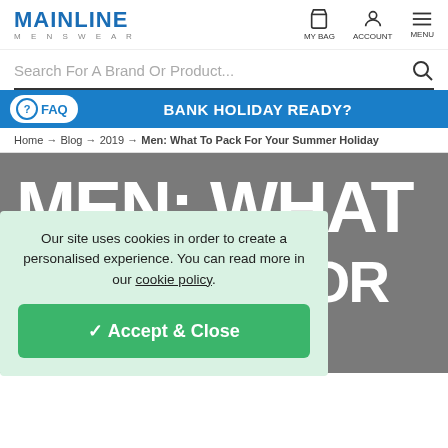MAINLINE MENSWEAR
Search For A Brand Or Product...
FAQ  BANK HOLIDAY READY?
Home → Blog → 2019 → Men: What To Pack For Your Summer Holiday
MEN: WHAT TO PACK FOR
Our site uses cookies in order to create a personalised experience. You can read more in our cookie policy.
✓ Accept & Close